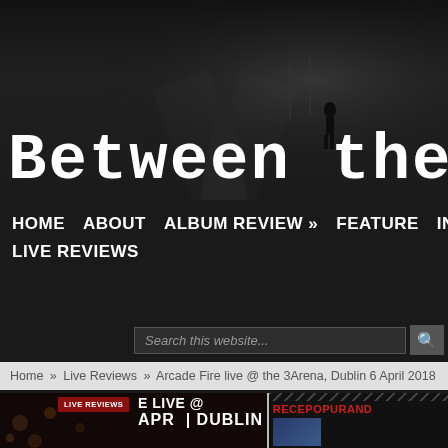[Figure (screenshot): Website header banner with dark moody background showing a silhouetted figure walking on a road in fog, with the site title 'Between the ba' visible (cropped)]
Between the ba
HOME   ABOUT   ALBUM REVIEW »   FEATURE   INTERVIEWS   LIVE REVIEWS
[Figure (screenshot): Search bar with placeholder text 'Search this website...' and a search icon button]
Home » Live Reviews » Arcade Fire live @ the 3Arena, Dublin 6 April 2018
[Figure (screenshot): Article thumbnail showing a concert image with a dark red 'LIVE REVIEWS' badge, and large text 'E LIVE @' and 'APR  DUBLIN' overlaid, alongside a sidebar section showing 'RECEPOPURAND' in red text]